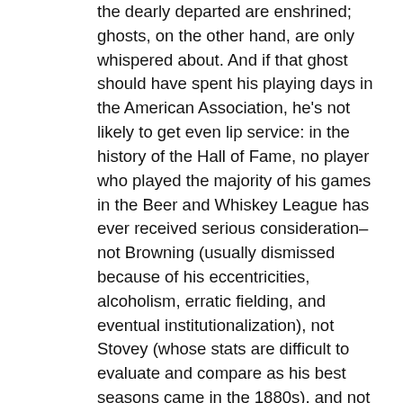the dearly departed are enshrined; ghosts, on the other hand, are only whispered about. And if that ghost should have spent his playing days in the American Association, he's not likely to get even lip service: in the history of the Hall of Fame, no player who played the majority of his games in the Beer and Whiskey League has ever received serious consideration–not Browning (usually dismissed because of his eccentricities, alcoholism, erratic fielding, and eventual institutionalization), not Stovey (whose stats are difficult to evaluate and compare as his best seasons came in the 1880s), and not Mullane (who exists in that pitching limbo we may call the 280 club: half of the half-dozen hurlers in this group–Blyleven, Jenkins, and Roberts–are in Cooperstown and half–John, Kaat, and Mullane–are not and never likely to be so long as those evaluating their careers insist on using 21st century metrics [i.e., wins don't